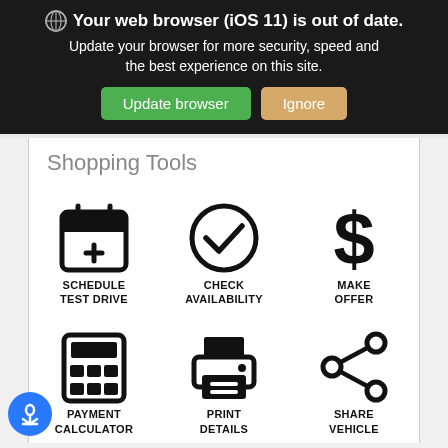Your web browser (iOS 11) is out of date. Update your browser for more security, speed and the best experience on this site.
Update browser
Ignore
Shopping Tools
[Figure (infographic): Six shopping tool icons in a 2x3 grid: Schedule Test Drive (calendar with plus), Check Availability (circle with checkmark), Make Offer (dollar sign), Payment Calculator (calculator), Print Details (printer), Share Vehicle (share icon)]